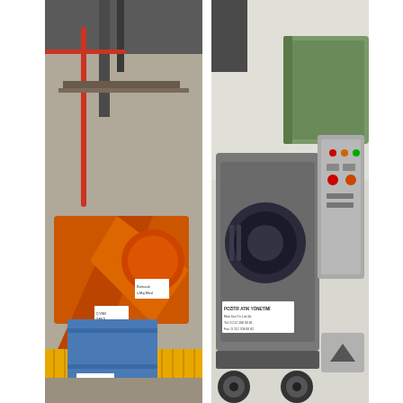[Figure (photo): Industrial facility photo showing orange-colored heavy machinery (conveyor/separator equipment) with yellow safety fence/barrier at the bottom, a blue metal container/box, and overhead steel structure with pipes and beams in a warehouse/factory setting.]
[Figure (photo): Industrial equipment photo showing a gray/green industrial machine (possibly a shredder or crusher) with a control panel box mounted to the right side with buttons and indicators, a dark electric motor, and green hopper/chute at top. A label on the machine reads 'POZİTİF ATIK YÖNETİMİ' with contact information. Machine is on wheels/casters. A back-to-top arrow button is visible in the bottom right corner.]